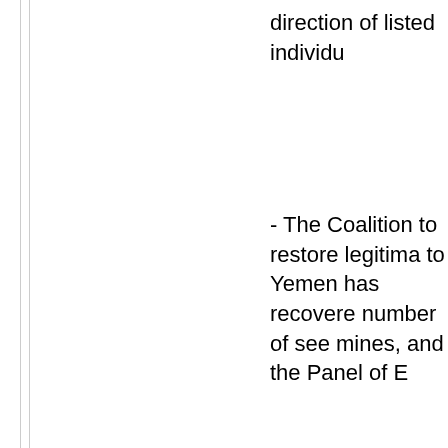direction of listed individu
- The Coalition to restore legitima to Yemen has recovere number of see mines, and the Panel of E